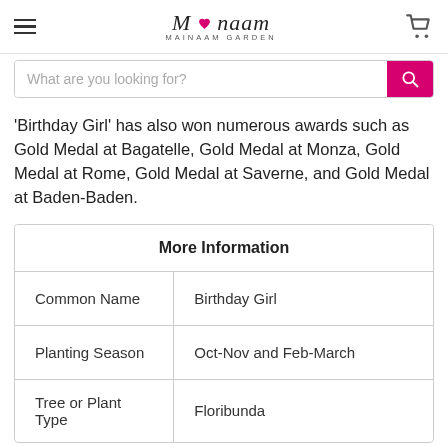Mainaam Garden
'Birthday Girl' has also won numerous awards such as Gold Medal at Bagatelle, Gold Medal at Monza, Gold Medal at Rome, Gold Medal at Saverne, and Gold Medal at Baden-Baden.
| More Information |
| --- |
| Common Name | Birthday Girl |
| Planting Season | Oct-Nov and Feb-March |
| Tree or Plant Type | Floribunda |